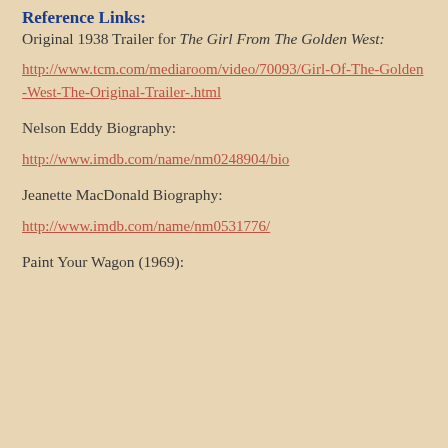Reference Links:
Original 1938 Trailer for The Girl From The Golden West:
http://www.tcm.com/mediaroom/video/70093/Girl-Of-The-Golden-West-The-Original-Trailer-.html
Nelson Eddy Biography:
http://www.imdb.com/name/nm0248904/bio
Jeanette MacDonald Biography:
http://www.imdb.com/name/nm0531776/
Paint Your Wagon (1969):